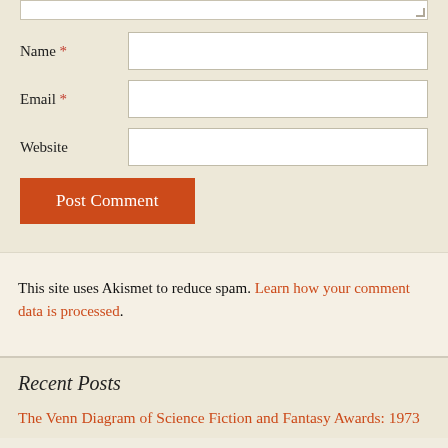Name * [input field]
Email * [input field]
Website [input field]
Post Comment
This site uses Akismet to reduce spam. Learn how your comment data is processed.
Recent Posts
The Venn Diagram of Science Fiction and Fantasy Awards: 1973